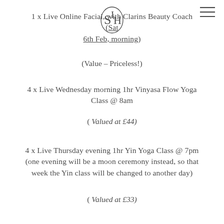[Figure (logo): Stylized S and H letters forming a circular logo mark]
[Figure (other): Hamburger menu icon (three horizontal lines)]
1 x Live Online Facial, with Clarins Beauty Coach (Sat 6th Feb, morning)
(Value – Priceless!)
4 x Live Wednesday morning 1hr Vinyasa Flow Yoga Class @ 8am
( Valued at £44)
4 x Live Thursday evening 1hr Yin Yoga Class @ 7pm (one evening will be a moon ceremony instead, so that week the Yin class will be changed to another day)
( Valued at £33)